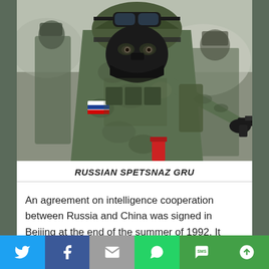[Figure (photo): Russian Spetsnaz GRU soldier in camouflage uniform aiming a handgun, wearing tactical gear including helmet with goggles and face mask, Russian flag patch visible on arm. Other soldiers visible in background.]
RUSSIAN SPETSNAZ GRU
An agreement on intelligence cooperation between Russia and China was signed in Beijing at the end of the summer of 1992. It envisaged the restoration of the cooperation in the area of intelligence which had been cut off in 1959. This secret treaty covered the